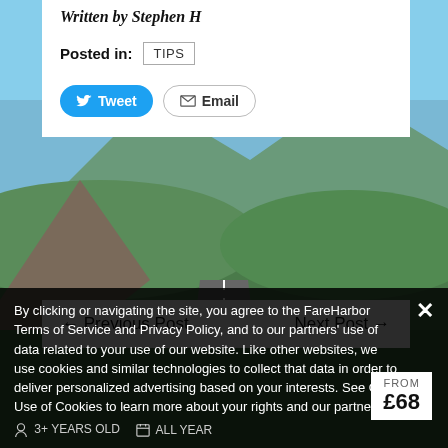[Figure (photo): Scenic landscape with green hills, mountains and a road in the background with blue sky]
Written by Stephen H
Posted in: TIPS
Tweet  Email
← Previous Post    Next Post →
By clicking or navigating the site, you agree to the FareHarbor Terms of Service and Privacy Policy, and to our partners' use of data related to your use of our website. Like other websites, we use cookies and similar technologies to collect that data in order to deliver personalized advertising based on your interests. See Our Use of Cookies to learn more about your rights and our partners.
FROM £68
3+ YEARS OLD   ALL YEAR